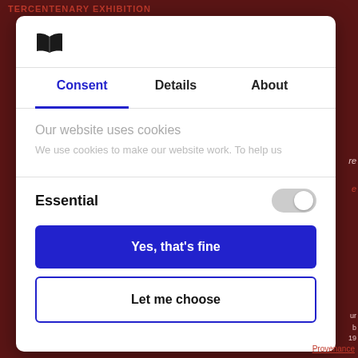[Figure (logo): Open book logo icon in black]
Consent | Details | About
Our website uses cookies
We use cookies to make our website work. To help us
Essential
Yes, that's fine
Let me choose